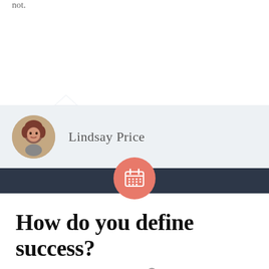not.
Lindsay Price
How do you define success?
December 8, 2014   Playwriting   No Comments   failure, goals, playwright, success